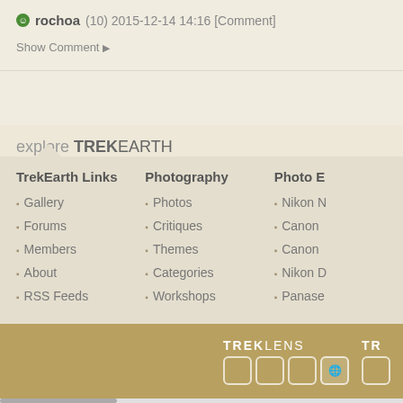rochoa (10) 2015-12-14 14:16 [Comment]
Show Comment ▶
explore TREKEARTH
TrekEarth Links
Gallery
Forums
Members
About
RSS Feeds
Photography
Photos
Critiques
Themes
Categories
Workshops
Photo E
Nikon
Canon
Canon
Nikon
Panase
[Figure (logo): TREKLENS logo with camera icons]
[Figure (logo): TR logo (partially visible)]
Copyright © 2018 MH Sub I, LLC dba Internet Brands. All rights reserved. | Advertise | Privacy Po...